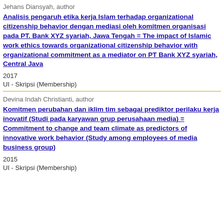Jehans Diansyah, author
Analisis pengaruh etika kerja Islam terhadap organizational citizenship behavior dengan mediasi oleh komitmen organisasi pada PT. Bank XYZ syariah, Jawa Tengah = The impact of Islamic work ethics towards organizational citizenship behavior with organizational commitment as a mediator on PT Bank XYZ syariah, Central Java
2017
UI - Skripsi (Membership)
Devina Indah Christianti, author
Komitmen perubahan dan iklim tim sebagai prediktor perilaku kerja inovatif (Studi pada karyawan grup perusahaan media) = Commitment to change and team climate as predictors of innovative work behavior (Study among employees of media business group)
2015
UI - Skripsi (Membership)